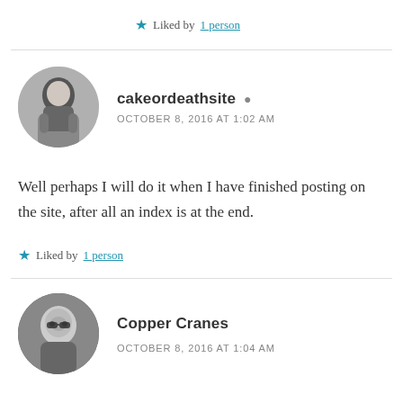★ Liked by 1 person
cakeordeathsite 👤
OCTOBER 8, 2016 AT 1:02 AM
Well perhaps I will do it when I have finished posting on the site, after all an index is at the end.
★ Liked by 1 person
Copper Cranes
OCTOBER 8, 2016 AT 1:04 AM